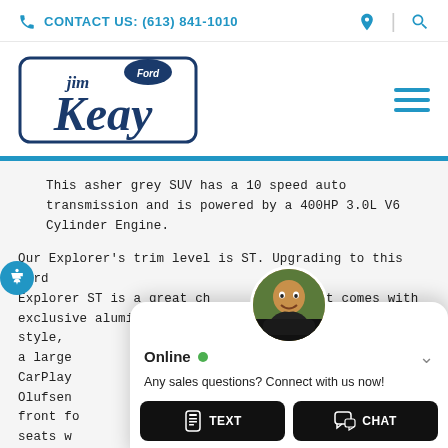CONTACT US: (613) 841-1010
[Figure (logo): Jim Keay Ford dealership logo with stylized text]
This asher grey SUV has a 10 speed auto transmission and is powered by a 400HP 3.0L V6 Cylinder Engine.
Our Explorer's trim level is ST. Upgrading to this Ford Explorer ST is a great choice as it comes with exclusive aluminum wh... unique exterior style, a large ... Apple CarPlay ... Bang & Olufsen ... ts with front fo... cooled seats w... black trim, a p... split foldi... 360... Ford C...
[Figure (screenshot): Online chat popup widget with person avatar, Online status indicator, 'Any sales questions? Connect with us now!' message, and TEXT and CHAT buttons]